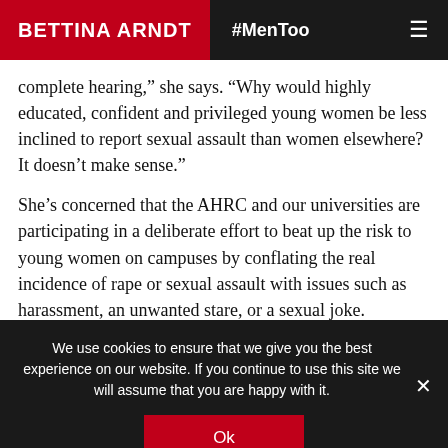BETTINA ARNDT  #MenToo
complete hearing,” she says. “Why would highly educated, confident and privileged young women be less inclined to report sexual assault than women elsewhere? It doesn’t make sense.”
She’s concerned that the AHRC and our universities are participating in a deliberate effort to beat up the risk to young women on campuses by conflating the real incidence of rape or sexual assault with issues such as harassment, an unwanted stare, or a sexual joke.
We use cookies to ensure that we give you the best experience on our website. If you continue to use this site we will assume that you are happy with it.
Ok